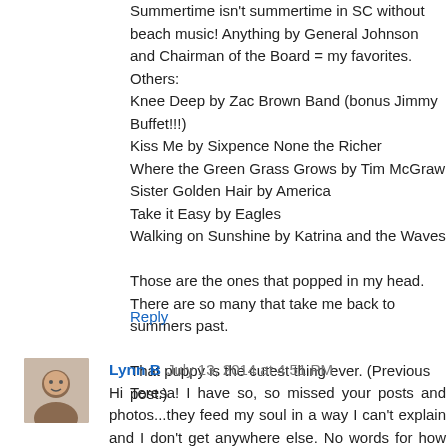Summertime isn't summertime in SC without beach music! Anything by General Johnson and Chairman of the Board = my favorites.
Others:
Knee Deep by Zac Brown Band (bonus Jimmy Buffet!!!)
Kiss Me by Sixpence None the Richer
Where the Green Grass Grows by Tim McGraw
Sister Golden Hair by America
Take it Easy by Eagles
Walking on Sunshine by Katrina and the Waves

Those are the ones that popped in my head. There are so many that take me back to summers past.

That puppy is the cutest thing ever. (Previous post.)
Reply
Lynn B  July 13, 2014 at 4:51 PM
Hi Teresa! I have so, so missed your posts and photos...they feed my soul in a way I can't explain and I don't get anywhere else. No words for how beautiful those